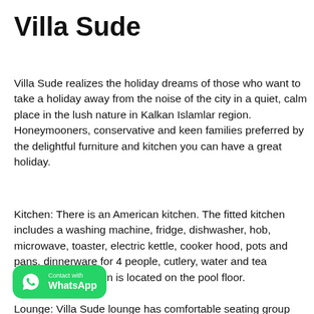Villa Sude
Villa Sude realizes the holiday dreams of those who want to take a holiday away from the noise of the city in a quiet, calm place in the lush nature in Kalkan Islamlar region. Honeymooners, conservative and keen families preferred by the delightful furniture and kitchen you can have a great holiday.
Kitchen: There is an American kitchen. The fitted kitchen includes a washing machine, fridge, dishwasher, hob, microwave, toaster, electric kettle, cooker hood, pots and pans, dinnerware for 4 people, cutlery, water and tea glasses. The kitchen is located on the pool floor.
Lounge: Villa Sude lounge has comfortable seating group